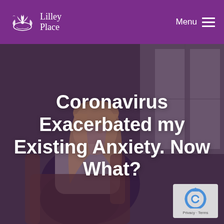Lilley Place — Menu
[Figure (photo): A young woman with long blonde hair sitting in an armchair, looking pensively out a window, with a purple overlay tint]
Coronavirus Exacerbated my Existing Anxiety. Now What?